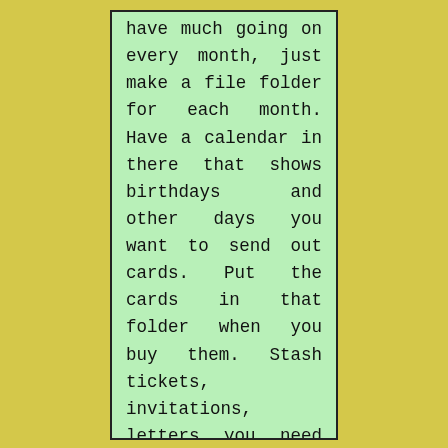have much going on every month, just make a file folder for each month. Have a calendar in there that shows birthdays and other days you want to send out cards. Put the cards in that folder when you buy them. Stash tickets, invitations, letters you need to answer and anything else that you want to do in a particular month. I do that and keep a Google calendar on my computer for a quick glance to see what's coming up, like